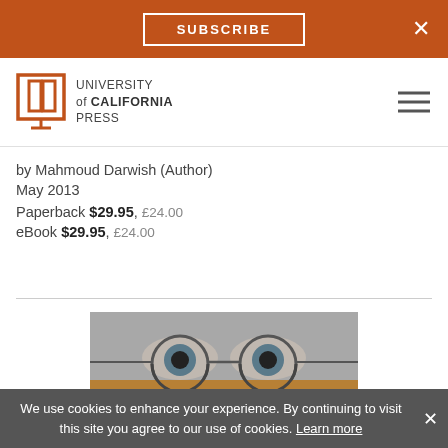SUBSCRIBE  ×
[Figure (logo): University of California Press logo with stylized open book icon and text: UNIVERSITY of CALIFORNIA PRESS]
by Mahmoud Darwish (Author)
May 2013
Paperback $29.95, £24.00
eBook $29.95, £24.00
[Figure (photo): Black and white close-up photo of a person's eyes wearing round glasses, with an amber/orange color band across the lower portion of the image]
We use cookies to enhance your experience. By continuing to visit this site you agree to our use of cookies. Learn more